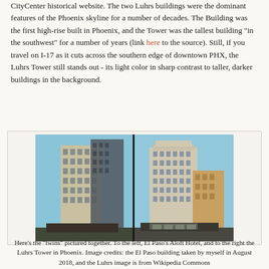CityCenter historical website. The two Luhrs buildings were the dominant features of the Phoenix skyline for a number of decades. The Building was the first high-rise built in Phoenix, and the Tower was the tallest building "in the southwest" for a number of years (link here to the source). Still, if you travel on I-17 as it cuts across the southern edge of downtown PHX, the Luhrs Tower still stands out - its light color in sharp contrast to taller, darker buildings in the background.
[Figure (photo): Two photos side by side: on the left, El Paso's Aloft Hotel (a tall light-colored building against blue sky with a darker building behind it), and on the right the Luhrs Tower in Phoenix (a light-colored multi-story historic building against blue sky with an orange/tan building beside it).]
Here's the "twins" pictured together. To the left, El Paso's Aloft Hotel, and to the right the Luhrs Tower in Phoenix. Image credits: the El Paso building taken by myself in August 2018, and the Luhrs image is from Wikipedia Commons